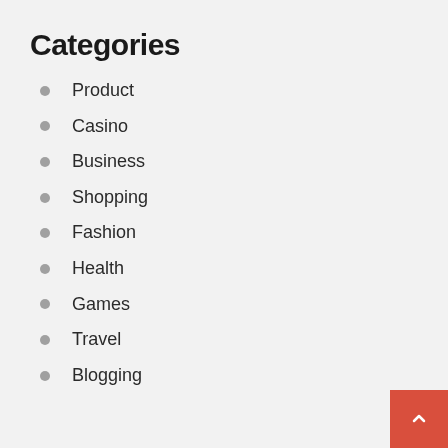Categories
Product
Casino
Business
Shopping
Fashion
Health
Games
Travel
Blogging